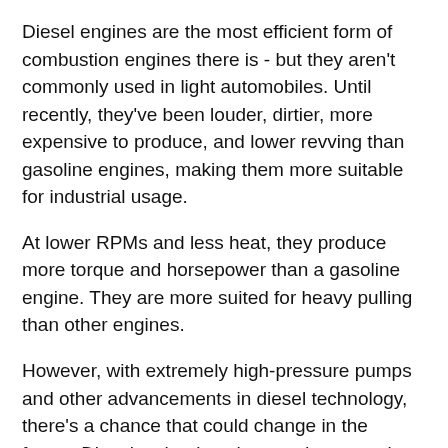Diesel engines are the most efficient form of combustion engines there is - but they aren't commonly used in light automobiles. Until recently, they've been louder, dirtier, more expensive to produce, and lower revving than gasoline engines, making them more suitable for industrial usage.
At lower RPMs and less heat, they produce more torque and horsepower than a gasoline engine. They are more suited for heavy pulling than other engines.
However, with extremely high-pressure pumps and other advancements in diesel technology, there's a chance that could change in the future. Diesel technology has made cars quieter and less expensive to operate. And thanks to the mandatory transition to ultra-low sulfur diesel, cars also don't spew black smoke.
Whether you drive a diesel or gas-powered car, truck, or SUV, our technicians have you covered. For the best auto service shop in Murfreesboro, TN, call or stop by Advantage